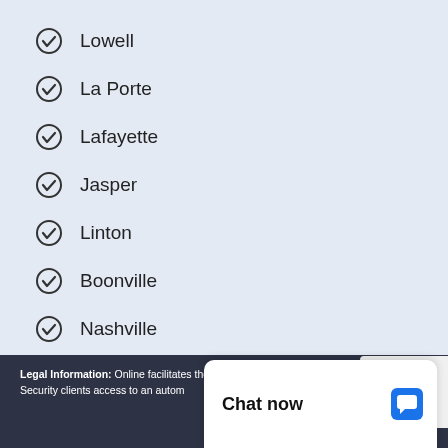Lowell
La Porte
Lafayette
Jasper
Linton
Boonville
Nashville
Clinton
Legal Information: Online facilitates the Social Security clients access to an autom
Chat now